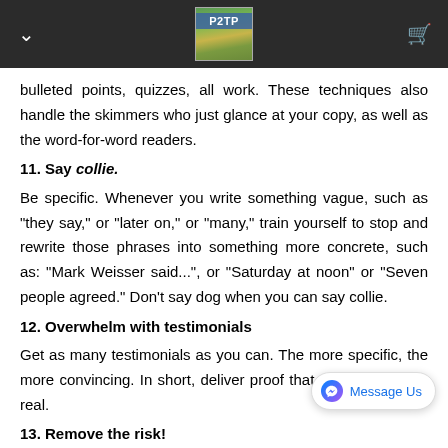P2TP
bulleted points, quizzes, all work. These techniques also handle the skimmers who just glance at your copy, as well as the word-for-word readers.
11. Say collie.
Be specific. Whenever you write something vague, such as "they say," or "later on," or "many," train yourself to stop and rewrite those phrases into something more concrete, such as: "Mark Weisser said...", or "Saturday at noon" or "Seven people agreed." Don't say dog when you can say collie.
12. Overwhelm with testimonials
Get as many testimonials as you can. The more specific, the more convincing. In short, deliver proof that your claim is for real.
13. Remove the risk!